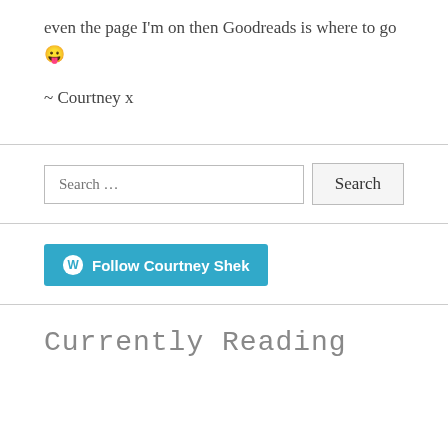even the page I'm on then Goodreads is where to go 😛
~ Courtney x
Search …
Follow Courtney Shek
Currently Reading